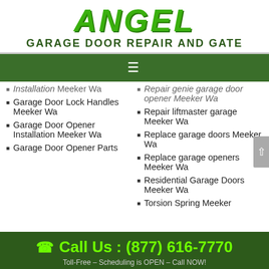ANGEL GARAGE DOOR REPAIR AND GATE
Installation Meeker Wa
Garage Door Lock Handles Meeker Wa
Garage Door Opener Installation Meeker Wa
Garage Door Opener Parts
Repair genie garage door opener Meeker Wa
Repair liftmaster garage Meeker Wa
Replace garage doors Meeker Wa
Replace garage openers Meeker Wa
Residential Garage Doors Meeker Wa
Torsion Spring Meeker
Call Us : (877) 616-7770
Toll-Free – Scheduling is OPEN – Call NOW!